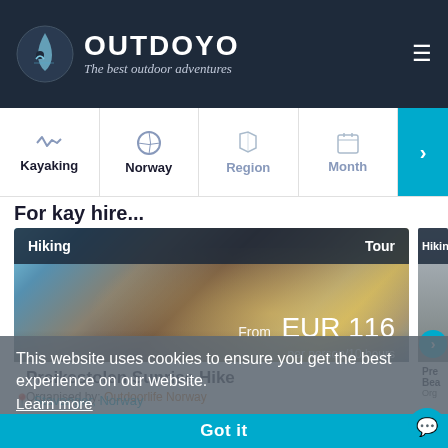[Figure (screenshot): OUTDOYO website header with logo (water drop icon), brand name OUTDOYO, tagline 'The best outdoor adventures', and hamburger menu icon on dark navy background]
[Figure (screenshot): Navigation bar with Kayaking, Norway, Region, Month filter tabs and a cyan arrow button]
For kay hire...
[Figure (photo): Hiking tour card showing Preikestolen Sunrise Hike with mountain/fjord photo, price From EUR 116 per person/10 hours, Organised by Outdoorlife Norway, Stavanger Norway, 52 reviews]
This website uses cookies to ensure you get the best experience on our website.
Learn more
Got it